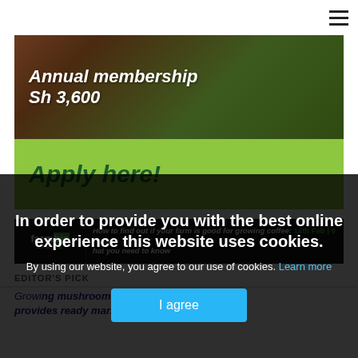Navigation menu (hamburger icon)
[Figure (illustration): Annual membership banner showing aerial farm/tree photograph with bold white italic text 'Annual membership Sh 3,600' on dark background, and green bar below with dark green italic text 'Apply here!']
[Figure (illustration): Farmbiz Africa banner advertisement: 'How to find out if your farm is good for growing coffee: 14th Feb | 9 - 11am' with farmbiz Africa logo on dark background]
EDITOR'S PICK
Growing mushrooms at home: A guide that provides ready market for farmers
In order to provide you with the best online experience this website uses cookies.
By using our website, you agree to our use of cookies. Learn more
I agree